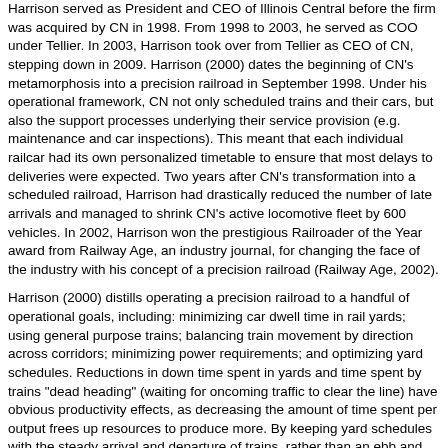Harrison served as President and CEO of Illinois Central before the firm was acquired by CN in 1998. From 1998 to 2003, he served as COO under Tellier. In 2003, Harrison took over from Tellier as CEO of CN, stepping down in 2009. Harrison (2000) dates the beginning of CN's metamorphosis into a precision railroad in September 1998. Under his operational framework, CN not only scheduled trains and their cars, but also the support processes underlying their service provision (e.g. maintenance and car inspections). This meant that each individual railcar had its own personalized timetable to ensure that most delays to deliveries were expected. Two years after CN's transformation into a scheduled railroad, Harrison had drastically reduced the number of late arrivals and managed to shrink CN's active locomotive fleet by 600 vehicles. In 2002, Harrison won the prestigious Railroader of the Year award from Railway Age, an industry journal, for changing the face of the industry with his concept of a precision railroad (Railway Age, 2002).
Harrison (2000) distills operating a precision railroad to a handful of operational goals, including: minimizing car dwell time in rail yards; using general purpose trains; balancing train movement by direction across corridors; minimizing power requirements; and optimizing yard schedules. Reductions in down time spent in yards and time spent by trains "dead heading" (waiting for oncoming traffic to clear the line) have obvious productivity effects, as decreasing the amount of time spent per output frees up resources to produce more. By keeping yard schedules with the steady arrival and departure of trains, rather than an ebb and flow, railways eliminate the need to keep excess capacity on hand at yards for high volume periods. Minimizing power requirements per train is an important, but admittedly counter-intuitive, prescription of a scheduled railroad. Under Harrison, CN balanced train velocity against horsepower requirements, sometimes sacrificing velocity. As adding a locomotive to a train results in a large step of horse power (think 3000 horsepower increments), Harrison